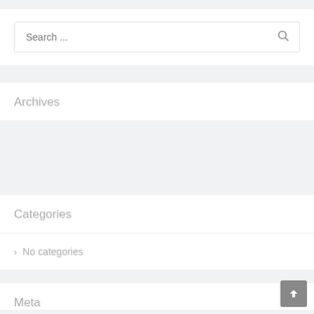Search ...
Archives
Categories
> No categories
Meta